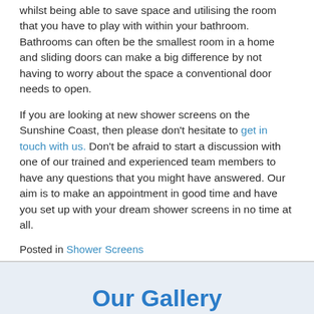whilst being able to save space and utilising the room that you have to play with within your bathroom. Bathrooms can often be the smallest room in a home and sliding doors can make a big difference by not having to worry about the space a conventional door needs to open.
If you are looking at new shower screens on the Sunshine Coast, then please don't hesitate to get in touch with us. Don't be afraid to start a discussion with one of our trained and experienced team members to have any questions that you might have answered. Our aim is to make an appointment in good time and have you set up with your dream shower screens in no time at all.
Posted in Shower Screens
Our Gallery
[Figure (photo): Strip of bathroom/shower screen photos at the bottom of the page]